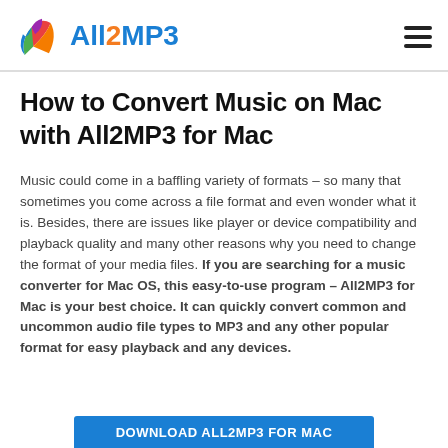All2MP3 logo and navigation menu
How to Convert Music on Mac with All2MP3 for Mac
Music could come in a baffling variety of formats – so many that sometimes you come across a file format and even wonder what it is. Besides, there are issues like player or device compatibility and playback quality and many other reasons why you need to change the format of your media files. If you are searching for a music converter for Mac OS, this easy-to-use program – All2MP3 for Mac is your best choice. It can quickly convert common and uncommon audio file types to MP3 and any other popular format for easy playback and any devices.
[Figure (other): Download All2MP3 for Mac button (blue bar at bottom)]